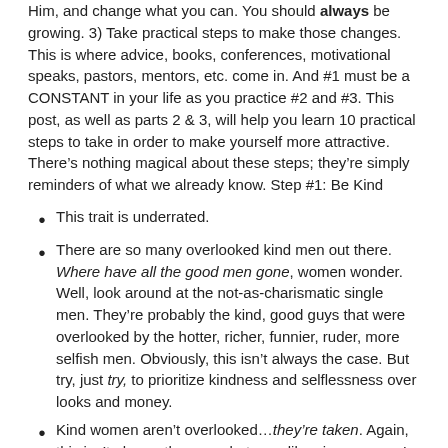Him, and change what you can. You should always be growing. 3) Take practical steps to make those changes. This is where advice, books, conferences, motivational speaks, pastors, mentors, etc. come in. And #1 must be a CONSTANT in your life as you practice #2 and #3. This post, as well as parts 2 & 3, will help you learn 10 practical steps to take in order to make yourself more attractive. There's nothing magical about these steps; they're simply reminders of what we already know. Step #1: Be Kind
This trait is underrated.
There are so many overlooked kind men out there. Where have all the good men gone, women wonder. Well, look around at the not-as-charismatic single men. They're probably the kind, good guys that were overlooked by the hotter, richer, funnier, ruder, more selfish men. Obviously, this isn't always the case. But try, just try, to prioritize kindness and selflessness over looks and money.
Kind women aren't overlooked…they're taken. Again, this isn't always the case, but men like nice women. I